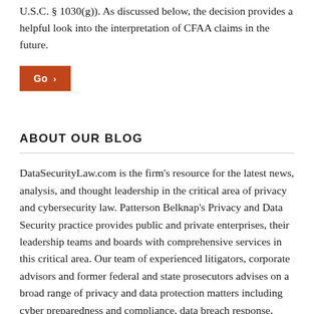U.S.C. § 1030(g)). As discussed below, the decision provides a helpful look into the interpretation of CFAA claims in the future.
Go ›
ABOUT OUR BLOG
DataSecurityLaw.com is the firm's resource for the latest news, analysis, and thought leadership in the critical area of privacy and cybersecurity law. Patterson Belknap's Privacy and Data Security practice provides public and private enterprises, their leadership teams and boards with comprehensive services in this critical area. Our team of experienced litigators, corporate advisors and former federal and state prosecutors advises on a broad range of privacy and data protection matters including cyber preparedness and compliance, data breach response, special board and committee representation, internal investigations, and